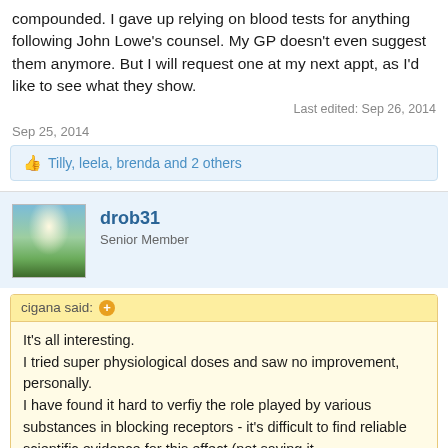compounded. I gave up relying on blood tests for anything following John Lowe's counsel. My GP doesn't even suggest them anymore. But I will request one at my next appt, as I'd like to see what they show.
Last edited: Sep 26, 2014
Sep 25, 2014
Tilly, leela, brenda and 2 others
drob31
Senior Member
cigana said:
It's all interesting.
I tried super physiological doses and saw no improvement, personally.
I have found it hard to verfiy the role played by various substances in blocking receptors - it's difficult to find reliable scientific evidence for this effect (not saying it